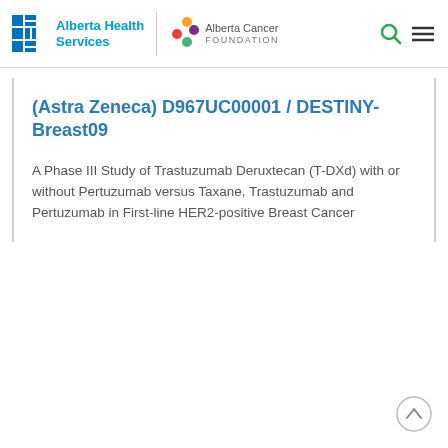Alberta Health Services | Alberta Cancer Foundation
(Astra Zeneca) D967UC00001 / DESTINY-Breast09
A Phase III Study of Trastuzumab Deruxtecan (T-DXd) with or without Pertuzumab versus Taxane, Trastuzumab and Pertuzumab in First-line HER2-positive Breast Cancer